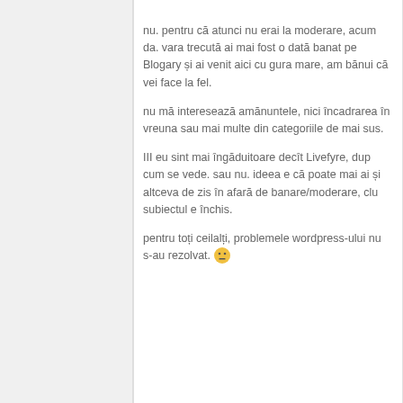nu. pentru că atunci nu erai la moderare, acum da. vara trecută ai mai fost o dată banat pe Blogary și ai venit aici cu gura mare, am bănui că vei face la fel.

nu mă interesează amănuntele, nici încadrarea în vreuna sau mai multe din categoriile de mai sus.

III eu sint mai îngăduitoare decît Livefyre, dup cum se vede. sau nu. ideea e că poate mai ai și altceva de zis în afară de banare/moderare, clu subiectul e închis.

pentru toți ceilalți, problemele wordpress-ului nu s-au rezolvat. 😐
[Figure (photo): Profile photo of Florina Neghinã - woman with glasses and dark hair]
Florina Neghinã
April 10, 2012 at 4:07 pm